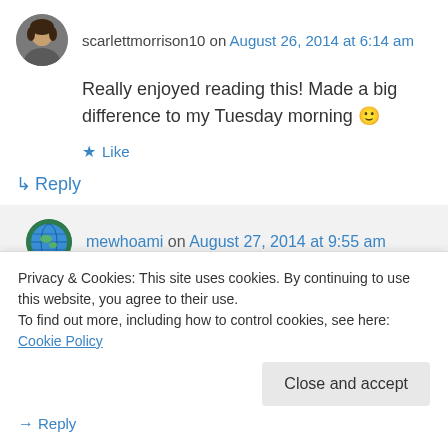[Figure (photo): Circular avatar of scarlettmorrison10, a woman]
scarlettmorrison10 on August 26, 2014 at 6:14 am
Really enjoyed reading this! Made a big difference to my Tuesday morning 🙂
★ Like
↳ Reply
[Figure (photo): Circular avatar of mewhoami, a globe/earth icon]
mewhoami on August 27, 2014 at 9:55 am
Th... (partially visible text cut off)
Privacy & Cookies: This site uses cookies. By continuing to use this website, you agree to their use.
To find out more, including how to control cookies, see here: Cookie Policy
Close and accept
→ Reply